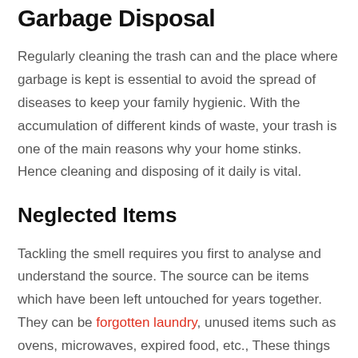Garbage Disposal
Regularly cleaning the trash can and the place where garbage is kept is essential to avoid the spread of diseases to keep your family hygienic. With the accumulation of different kinds of waste, your trash is one of the main reasons why your home stinks. Hence cleaning and disposing of it daily is vital.
Neglected Items
Tackling the smell requires you first to analyse and understand the source. The source can be items which have been left untouched for years together. They can be forgotten laundry, unused items such as ovens, microwaves, expired food, etc., These things need to be